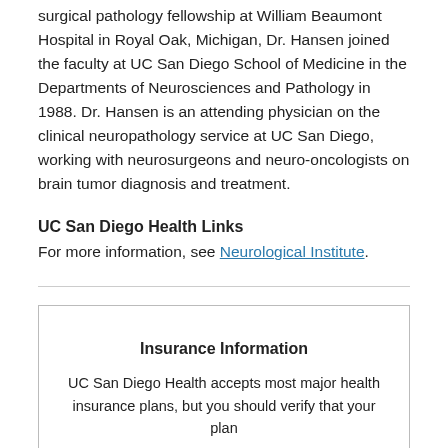surgical pathology fellowship at William Beaumont Hospital in Royal Oak, Michigan, Dr. Hansen joined the faculty at UC San Diego School of Medicine in the Departments of Neurosciences and Pathology in 1988. Dr. Hansen is an attending physician on the clinical neuropathology service at UC San Diego, working with neurosurgeons and neuro-oncologists on brain tumor diagnosis and treatment.
UC San Diego Health Links
For more information, see Neurological Institute.
Insurance Information
UC San Diego Health accepts most major health insurance plans, but you should verify that your plan